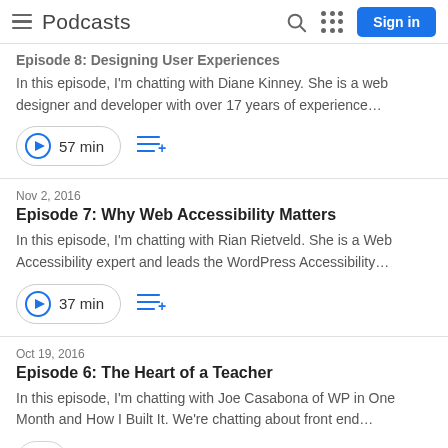Podcasts | Sign in
Episode 8: Designing User Experiences (partial, cut off at top)
In this episode, I'm chatting with Diane Kinney. She is a web designer and developer with over 17 years of experience…
57 min
Nov 2, 2016
Episode 7: Why Web Accessibility Matters
In this episode, I'm chatting with Rian Rietveld. She is a Web Accessibility expert and leads the WordPress Accessibility…
37 min
Oct 19, 2016
Episode 6: The Heart of a Teacher
In this episode, I'm chatting with Joe Casabona of WP in One Month and How I Built It. We're chatting about front end…